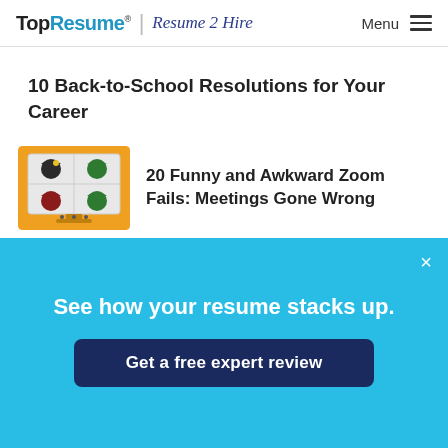TopResume® | Resume 2 Hire   Menu
10 Back-to-School Resolutions for Your Career
[Figure (illustration): Illustration of a video call/Zoom meeting screen showing four people with cartoon-style avatars on an orange/yellow monitor background]
20 Funny and Awkward Zoom Fails: Meetings Gone Wrong
See how your resume stacks up.
Get a free expert review